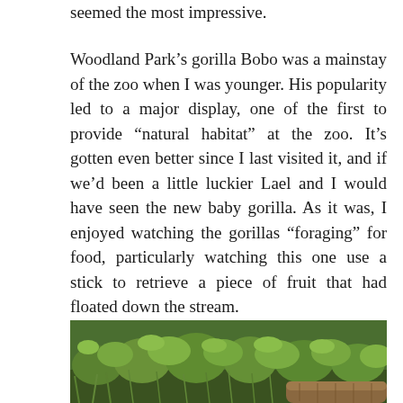seemed the most impressive.
Woodland Park’s gorilla Bobo was a mainstay of the zoo when I was younger. His popularity led to a major display, one of the first to provide “natural habitat” at the zoo. It’s gotten even better since I last visited it, and if we’d been a little luckier Lael and I would have seen the new baby gorilla. As it was, I enjoyed watching the gorillas “foraging” for food, particularly watching this one use a stick to retrieve a piece of fruit that had floated down the stream.
[Figure (photo): Outdoor nature photograph showing green leafy ground cover plants and what appears to be a log or wooden structure at the lower right, likely taken at a zoo habitat area.]